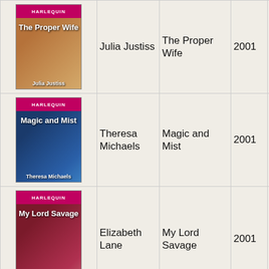| Cover | Author | Title | Year | Month | Publisher |
| --- | --- | --- | --- | --- | --- |
| [book cover: The Proper Wife] | Julia Justiss | The Proper Wife | 2001 | July | HH HH |
| [book cover: Magic and Mist] | Theresa Michaels | Magic and Mist | 2001 | July | HH HH |
| [book cover: My Lord Savage] | Elizabeth Lane | My Lord Savage | 2001 | July | HH HH |
| [book cover: The Colorado Bride] | Mary Burton | The Colorado Bride | 2001 | July | HH HH |
| [book cover: The Widow's...] | Judith | The Widow's | 2001 |  | HH |